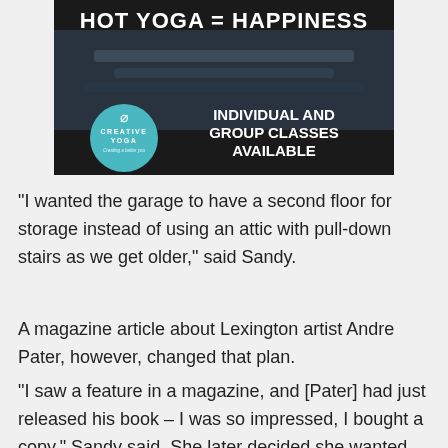[Figure (advertisement): Hot Yoga = Happiness advertisement for Creative Yoga studio showing yoga mats in dark background with teal circular logo and text 'Individual and Group Classes Available']
“I wanted the garage to have a second floor for storage instead of using an attic with pull-down stairs as we get older,” said Sandy.
A magazine article about Lexington artist Andre Pater, however, changed that plan.
“I saw a feature in a magazine, and [Pater] had just released his book – I was so impressed, I bought a copy,” Sandy said. She later decided she wanted